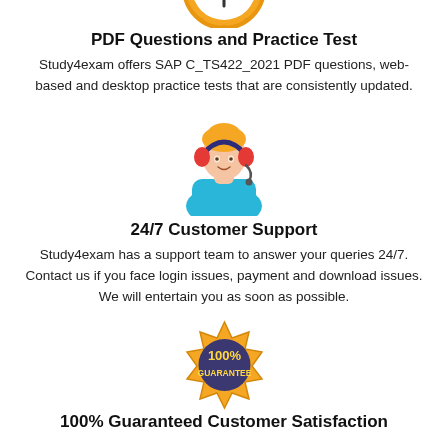[Figure (illustration): Partial clock/timer icon at top, gold colored, only bottom portion visible]
PDF Questions and Practice Test
Study4exam offers SAP C_TS422_2021 PDF questions, web-based and desktop practice tests that are consistently updated.
[Figure (illustration): Customer support agent icon: person with headset wearing blue shirt, red headphones, blonde hair]
24/7 Customer Support
Study4exam has a support team to answer your queries 24/7. Contact us if you face login issues, payment and download issues. We will entertain you as soon as possible.
[Figure (illustration): Gold badge/seal with text 100% GUARANTEE inside]
100% Guaranteed Customer Satisfaction